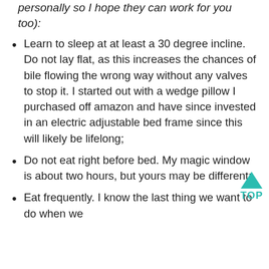personally so I hope they can work for you too):
Learn to sleep at at least a 30 degree incline. Do not lay flat, as this increases the chances of bile flowing the wrong way without any valves to stop it. I started out with a wedge pillow I purchased off amazon and have since invested in an electric adjustable bed frame since this will likely be lifelong;
Do not eat right before bed. My magic window is about two hours, but yours may be different;
Eat frequently. I know the last thing we want to do when we